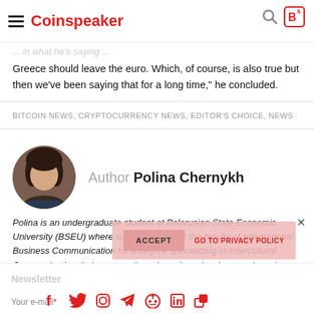Coinspeaker
Greece should leave the euro. Which, of course, is also true but then we've been saying that for a long time," he concluded.
BITCOIN NEWS, CRYPTOCURRENCY NEWS, EDITOR'S CHOICE, NEWS
Author Polina Chernykh
Polina is an undergraduate student at Belarusian State Economic University (BSEU) where she is studying at the faculty of International Business Communication for a degree specializing in Intercultural Communication. In her spare time she enjoys drawing, music and travelling.
Newsletter  Your e-mail*